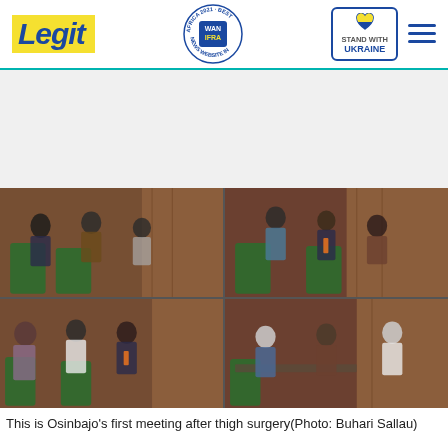Legit | WAN IFRA 2021 Best News Website in Africa | Stand With Ukraine
[Figure (photo): Four-panel photo collage showing Osinbajo's first meeting after thigh surgery, with various officials gathered in a formal meeting room with wooden paneling and green chairs]
This is Osinbajo's first meeting after thigh surgery(Photo: Buhari Sallau)